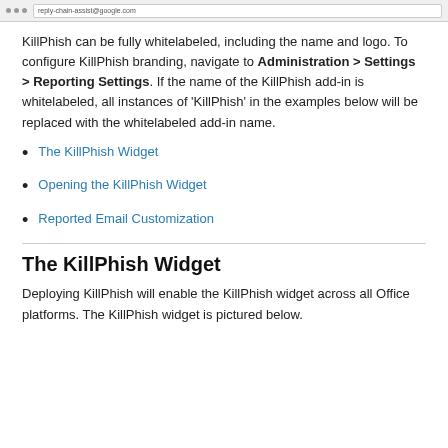[Figure (screenshot): Browser address bar / tab strip screenshot at top of page]
KillPhish can be fully whitelabeled, including the name and logo. To configure KillPhish branding, navigate to Administration > Settings > Reporting Settings. If the name of the KillPhish add-in is whitelabeled, all instances of 'KillPhish' in the examples below will be replaced with the whitelabeled add-in name.
The KillPhish Widget
Opening the KillPhish Widget
Reported Email Customization
The KillPhish Widget
Deploying KillPhish will enable the KillPhish widget across all Office platforms. The KillPhish widget is pictured below.